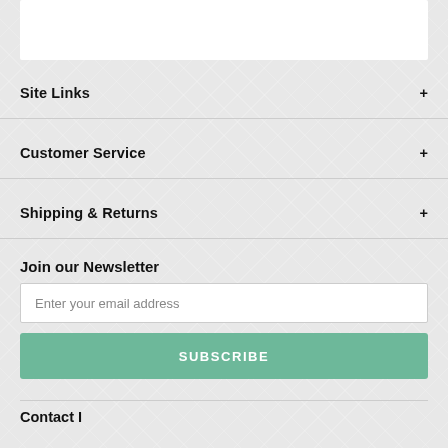Site Links
Customer Service
Shipping & Returns
Join our Newsletter
Enter your email address
SUBSCRIBE
Contact I...